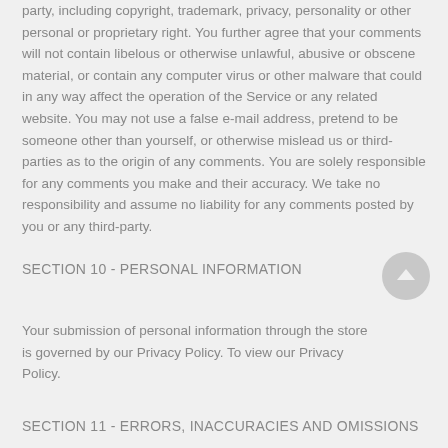party, including copyright, trademark, privacy, personality or other personal or proprietary right. You further agree that your comments will not contain libelous or otherwise unlawful, abusive or obscene material, or contain any computer virus or other malware that could in any way affect the operation of the Service or any related website. You may not use a false e-mail address, pretend to be someone other than yourself, or otherwise mislead us or third-parties as to the origin of any comments. You are solely responsible for any comments you make and their accuracy. We take no responsibility and assume no liability for any comments posted by you or any third-party.
SECTION 10 - PERSONAL INFORMATION
Your submission of personal information through the store is governed by our Privacy Policy. To view our Privacy Policy.
SECTION 11 - ERRORS, INACCURACIES AND OMISSIONS